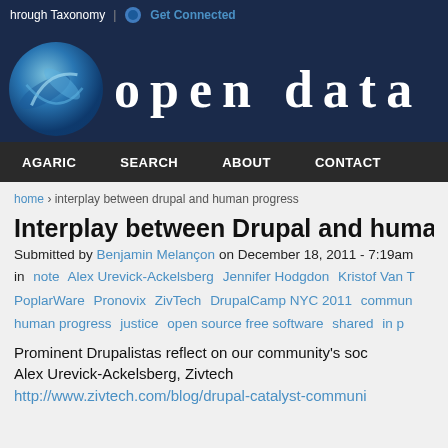hrough Taxonomy | Get Connected
[Figure (logo): Drupal open data site logo with blue sphere icon and 'open data' text]
AGARIC | SEARCH | ABOUT | CONTACT
home › interplay between drupal and human progress
Interplay between Drupal and human progress
Submitted by Benjamin Melançon on December 18, 2011 - 7:19am
in note Alex Urevick-Ackelsberg Jennifer Hodgdon Kristof Van T PoplarWare Pronovix ZivTech DrupalCamp NYC 2011 commun human progress justice open source free software shared in p
Prominent Drupalistas reflect on our community's soc
Alex Urevick-Ackelsberg, Zivtech
http://www.zivtech.com/blog/drupal-catalyst-communi